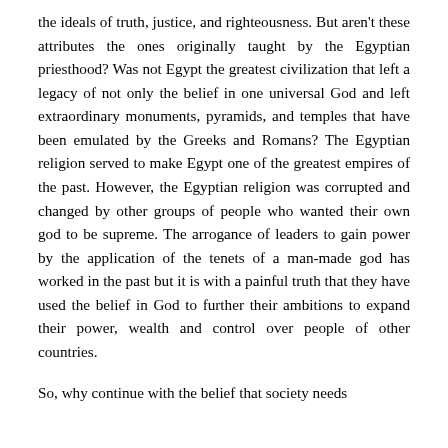the ideals of truth, justice, and righteousness. But aren't these attributes the ones originally taught by the Egyptian priesthood? Was not Egypt the greatest civilization that left a legacy of not only the belief in one universal God and left extraordinary monuments, pyramids, and temples that have been emulated by the Greeks and Romans? The Egyptian religion served to make Egypt one of the greatest empires of the past. However, the Egyptian religion was corrupted and changed by other groups of people who wanted their own god to be supreme. The arrogance of leaders to gain power by the application of the tenets of a man-made god has worked in the past but it is with a painful truth that they have used the belief in God to further their ambitions to expand their power, wealth and control over people of other countries.
So, why continue with the belief that society needs